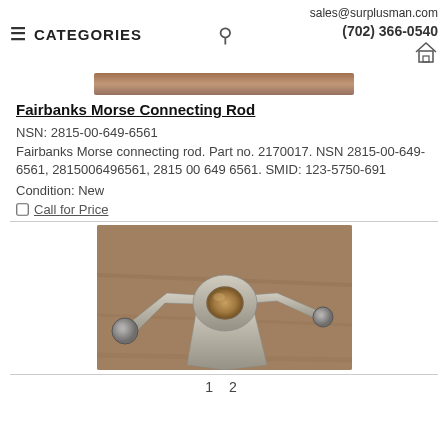sales@surplusman.com
(702) 366-0540
CATEGORIES
[Figure (photo): Partial top image of a Fairbanks Morse connecting rod product photo]
Fairbanks Morse Connecting Rod
NSN: 2815-00-649-6561
Fairbanks Morse connecting rod. Part no. 2170017. NSN 2815-00-649-6561, 2815006496561, 2815 00 649 6561. SMID: 123-5750-691
Condition: New
Call for Price
[Figure (photo): Photograph of a Fairbanks Morse connecting rod, silver/metallic triangular shaped part with circular bearing hole in center and ball joints at ends, on a brown background]
1  2